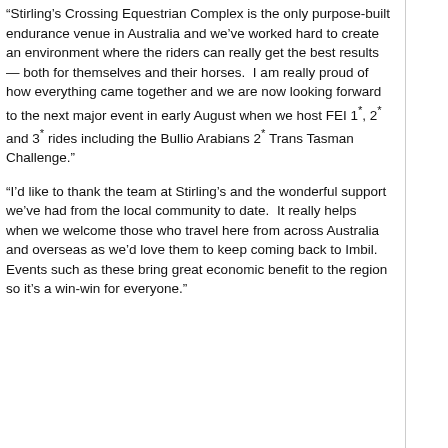“Stirling’s Crossing Equestrian Complex is the only purpose-built endurance venue in Australia and we’ve worked hard to create an environment where the riders can really get the best results — both for themselves and their horses.  I am really proud of how everything came together and we are now looking forward to the next major event in early August when we host FEI 1*, 2* and 3* rides including the Bullio Arabians 2* Trans Tasman Challenge.”
“I’d like to thank the team at Stirling’s and the wonderful support we’ve had from the local community to date.  It really helps when we welcome those who travel here from across Australia and overseas as we’d love them to keep coming back to Imbil.  Events such as these bring great economic benefit to the region so it’s a win-win for everyone.”